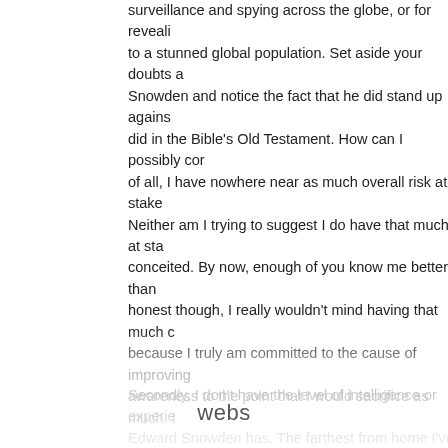surveillance and spying across the globe, or for revealing to a stunned global population. Set aside your doubts about Snowden and notice the fact that he did stand up against what was did in the Bible's Old Testament. How can I possibly compare? First of all, I have nowhere near as much overall risk at stake as he did. Neither am I trying to suggest I do have that much at stake as conceited. By now, enough of you know me better than that. Being honest though, I really wouldn't mind having that much courage because I truly am committed to the cause of improving human awareness to the point that I would sacrifice as much. I
Secondly, I don't have the level of intelligence or experience Edward Snowden has. The farthest from home I've gone was Chicago in 2003 when I traveled with a best friend on a invaluable social experiences and professional opportunities a world apart from anything I have done up to the present jobs I can't even imagine and made incomes I couldn't do an hour I've made to date here where I live. He was fort
webs